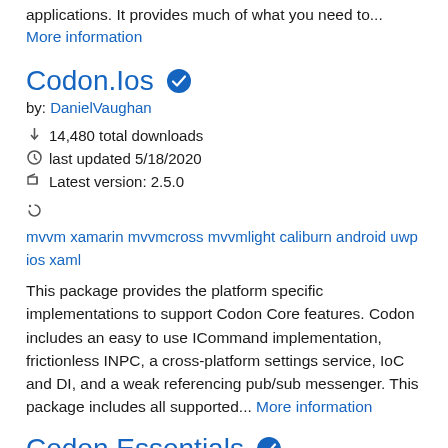applications. It provides much of what you need to... More information
Codon.Ios
by: DanielVaughan
14,480 total downloads
last updated 5/18/2020
Latest version: 2.5.0
mvvm xamarin mvvmcross mvvmlight caliburn android uwp ios xaml
This package provides the platform specific implementations to support Codon Core features. Codon includes an easy to use ICommand implementation, frictionless INPC, a cross-platform settings service, IoC and DI, and a weak referencing pub/sub messenger. This package includes all supported... More information
Codon.Essentials
by: DanielVaughan